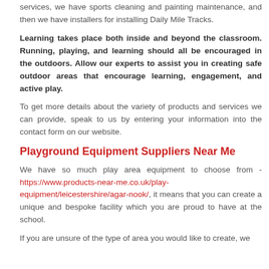services, we have sports cleaning and painting maintenance, and then we have installers for installing Daily Mile Tracks.
Learning takes place both inside and beyond the classroom. Running, playing, and learning should all be encouraged in the outdoors. Allow our experts to assist you in creating safe outdoor areas that encourage learning, engagement, and active play.
To get more details about the variety of products and services we can provide, speak to us by entering your information into the contact form on our website.
Playground Equipment Suppliers Near Me
We have so much play area equipment to choose from - https://www.products-near-me.co.uk/play-equipment/leicestershire/agar-nook/, it means that you can create a unique and bespoke facility which you are proud to have at the school.
If you are unsure of the type of area you would like to create, we